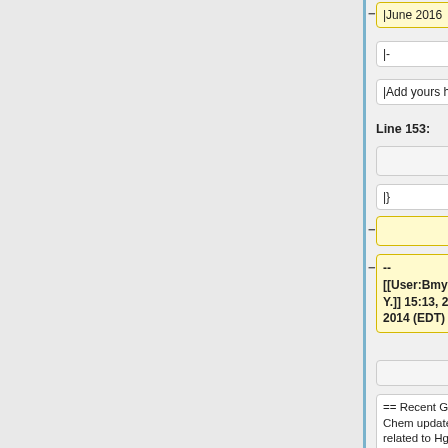|June 2016
|-
|-
|Add yours here!
|Add yours here!
Line 153:
Line 114:
|}
|}
--
[[User:Bmy|Bob Y.]] 15:13, 25 April 2014 (EDT)
== Recent GEOS-Chem updates related to Hg and POPs
== Recent GEOS-Chem updates related to Hg and POPs